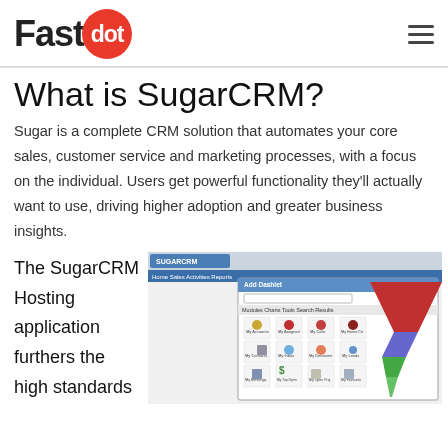Fastdot
What is SugarCRM?
Sugar is a complete CRM solution that automates your core sales, customer service and marketing processes, with a focus on the individual. Users get powerful functionality they'll actually want to use, driving higher adoption and greater business insights.
The SugarCRM Hosting application furthers the high standards
[Figure (screenshot): Screenshot of the SugarCRM web application interface showing the dashboard with module icons including My Accounts, My Assigned Items, My Calls, My Home Centre, My Contacts, My Inbox, My Documents, My Leads, My Meetings, My Top Open Opportunities, My Open Project Tasks, My Favourite Reports, My News Feeds. Also visible is a sales funnel chart on the right side.]